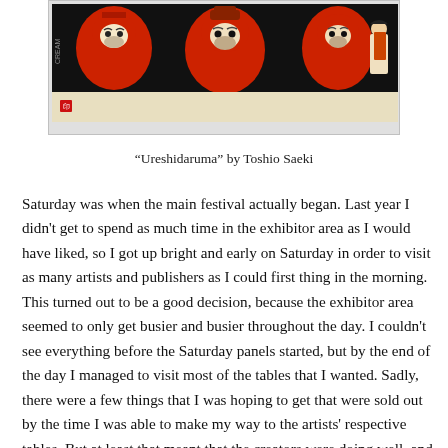[Figure (illustration): A Japanese woodblock print style image showing red round figures (daruma dolls) with characters in traditional attire on a black background. Below is a beige/cream colored rectangular area. A small red seal mark is visible on the left side.]
“Ureshidaruma” by Toshio Saeki
Saturday was when the main festival actually began. Last year I didn't get to spend as much time in the exhibitor area as I would have liked, so I got up bright and early on Saturday in order to visit as many artists and publishers as I could first thing in the morning. This turned out to be a good decision, because the exhibitor area seemed to only get busier and busier throughout the day. I couldn't see everything before the Saturday panels started, but by the end of the day I managed to visit most of the tables that I wanted. Sadly, there were a few things that I was hoping to get that were sold out by the time I was able to make my way to the artists' respective tables. But at least that meant that the creators were doing well, and I was very glad to see their success. While I went into TCAF knowing there were certain things that I wanted to pick up, I also allowed myself the